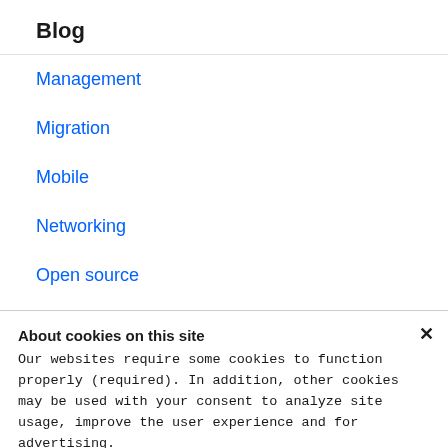Blog
Management
Migration
Mobile
Networking
Open source
About cookies on this site
Our websites require some cookies to function properly (required). In addition, other cookies may be used with your consent to analyze site usage, improve the user experience and for advertising.

For more information, please review your Cookie preferences options and IBM's privacy statement.
Required only
Accept all